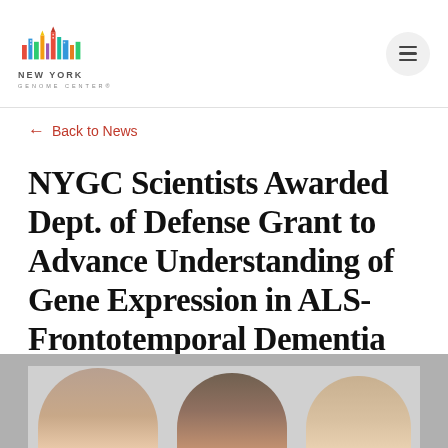NEW YORK GENOME CENTER
← Back to News
NYGC Scientists Awarded Dept. of Defense Grant to Advance Understanding of Gene Expression in ALS-Frontotemporal Dementia Clinical Spectrum
[Figure (photo): Three researchers photographed together, cropped at the bottom of the page]